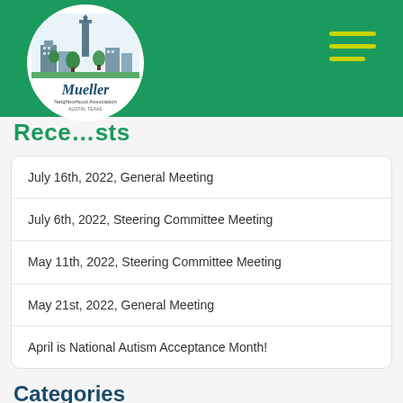[Figure (logo): Mueller Neighborhood Association logo — circular white badge with illustrated cityscape including tower, buildings, and trees, with cursive 'Mueller' text and 'Neighborhood Association' subtitle, Austin, Texas]
Mueller Neighborhood Association website header with green background and hamburger menu icon
Recent Posts
July 16th, 2022, General Meeting
July 6th, 2022, Steering Committee Meeting
May 11th, 2022, Steering Committee Meeting
May 21st, 2022, General Meeting
April is National Autism Acceptance Month!
Categories
Article